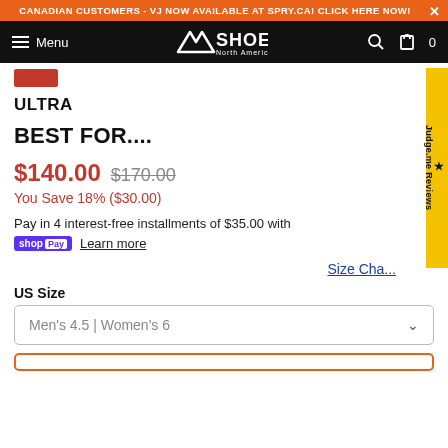CANADIAN CUSTOMERS - VJ NOW AVAILABLE AT SPRY.CA! CLICK HERE NOW!
[Figure (screenshot): VJ Shoes North America navigation bar with menu icon, logo, search icon, and cart icon showing 0 items]
[Figure (screenshot): Red breadcrumb/back button area]
ULTRA
BEST FOR....
$140.00 $170.00
You Save 18% ($30.00)
Pay in 4 interest-free installments of $35.00 with
shopPay Learn more
Size Cha...
US Size
Men's 4.5 | Women's 6